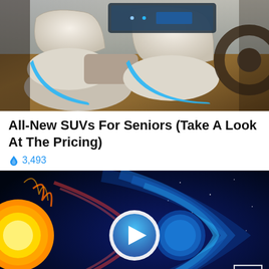[Figure (photo): Interior of a futuristic autonomous vehicle concept car with white leather swiveling seats, wood floor, blue accent lighting, and a large steering wheel on the right side.]
All-New SUVs For Seniors (Take A Look At The Pricing)
🔥 3,493
[Figure (photo): A dramatic space/science visualization showing a sun with solar flare on the left and magnetic field lines in blue on a dark background, with a large white circular play button in the center and a small expand/collapse button in the lower right corner.]